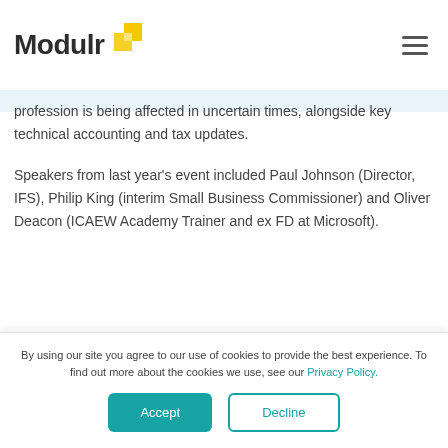Modulr
profession is being affected in uncertain times, alongside key technical accounting and tax updates.
Speakers from last year's event included Paul Johnson (Director, IFS), Philip King (interim Small Business Commissioner) and Oliver Deacon (ICAEW Academy Trainer and ex FD at Microsoft).
By using our site you agree to our use of cookies to provide the best experience. To find out more about the cookies we use, see our Privacy Policy.
Accept | Decline